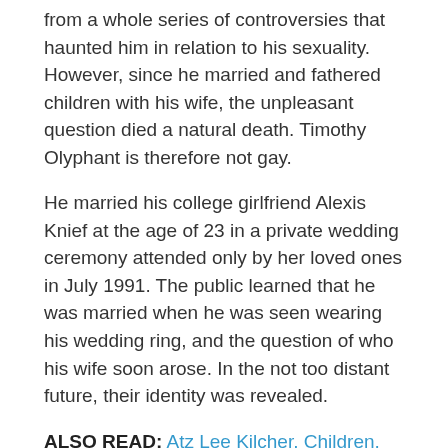from a whole series of controversies that haunted him in relation to his sexuality. However, since he married and fathered children with his wife, the unpleasant question died a natural death. Timothy Olyphant is therefore not gay.
He married his college girlfriend Alexis Knief at the age of 23 in a private wedding ceremony attended only by her loved ones in July 1991. The public learned that he was married when he was seen wearing his wedding ring, and the question of who his wife soon arose. In the not too distant future, their identity was revealed.
ALSO READ: Atz Lee Kilcher, Children, Wiki, Wife, Family, Son, Biography
According to Timothy, much of his professional success is due to his wife who has been supporting it through...